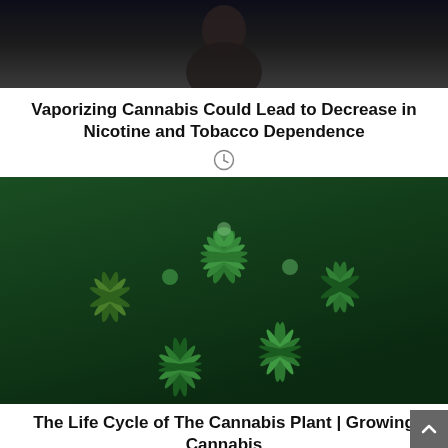[Figure (photo): Dark photo showing a person, partially visible, in low lighting]
Vaporizing Cannabis Could Lead to Decrease in Nicotine and Tobacco Dependence
[Figure (photo): Close-up photo of green cannabis plants with dense leaves and buds]
The Life Cycle of The Cannabis Plant | Growing Cannabis